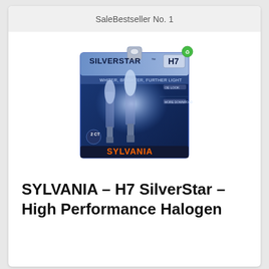SaleBestseller No. 1
[Figure (photo): Product photo of SYLVANIA SilverStar H7 halogen headlight bulbs in retail packaging. The dark blue and silver blister pack shows two halogen bulbs, the SILVERSTAR and H7 branding, a green recycling symbol, and the SYLVANIA logo in orange text at the bottom.]
SYLVANIA – H7 SilverStar – High Performance Halogen